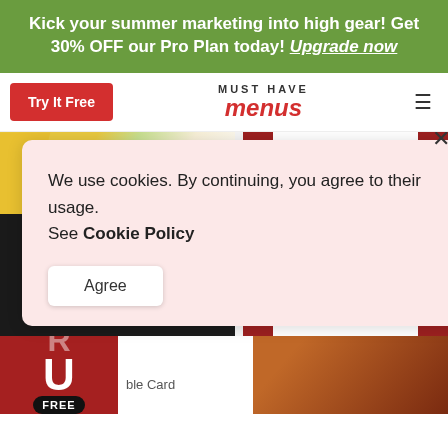Kick your summer marketing into high gear! Get 30% OFF our Pro Plan today! Upgrade now
[Figure (screenshot): Must Have Menus navigation bar with Try It Free button, brand logo, and hamburger menu]
[Figure (screenshot): Pasta Tuesday promotional card with yellow accent and food photography]
[Figure (screenshot): QR Code placeholder card with red side borders]
We use cookies. By continuing, you agree to their usage. See Cookie Policy
Agree
ble Card
[Figure (photo): Partial bottom image with red and brown tones, partially visible text]